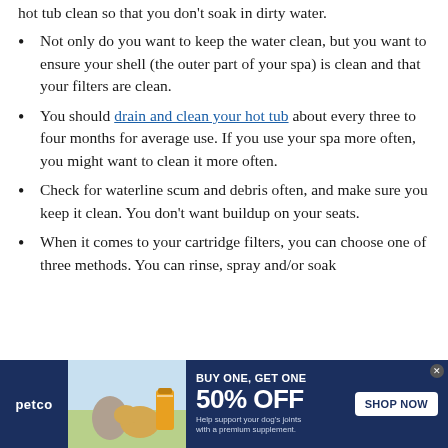hot tub clean so that you don't soak in dirty water.
Not only do you want to keep the water clean, but you want to ensure your shell (the outer part of your spa) is clean and that your filters are clean.
You should drain and clean your hot tub about every three to four months for average use. If you use your spa more often, you might want to clean it more often.
Check for waterline scum and debris often, and make sure you keep it clean. You don't want buildup on your seats.
When it comes to your cartridge filters, you can choose one of three methods. You can rinse, spray and/or soak
[Figure (infographic): Petco advertisement banner: BUY ONE, GET ONE 50% OFF - Help support your dog's joints with a premium supplement. SHOP NOW button. Shows a woman with a golden retriever and supplement bottle.]